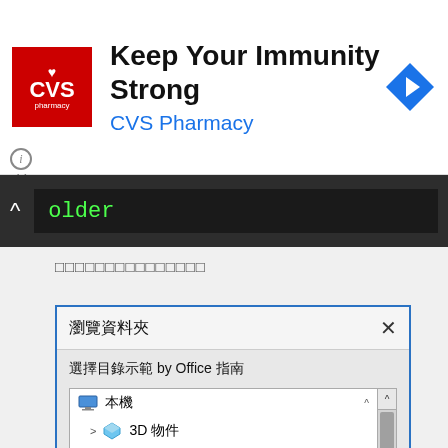[Figure (screenshot): CVS Pharmacy advertisement banner with logo, headline 'Keep Your Immunity Strong', brand name 'CVS Pharmacy' in blue, and navigation arrow icon]
[Figure (screenshot): Dark toolbar with caret and green text input showing 'older' placeholder]
□□□□□□□□□□□□□□□
[Figure (screenshot): Windows 'Browse Folder' dialog box in Traditional Chinese showing folder tree with This PC, 3D Objects, Downloads, Documents, Music, Desktop, Pictures, Videos]